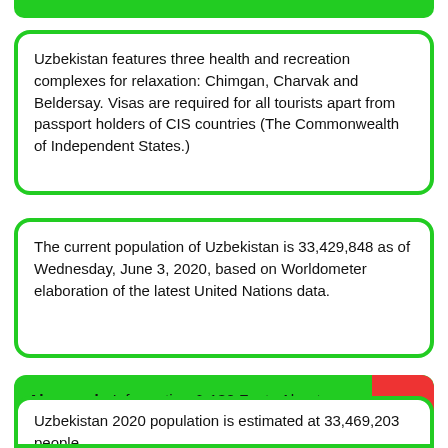Uzbekistan features three health and recreation complexes for relaxation: Chimgan, Charvak and Beldersay. Visas are required for all tourists apart from passport holders of CIS countries (The Commonwealth of Independent States.)
The current population of Uzbekistan is 33,429,848 as of Wednesday, June 3, 2020, based on Worldometer elaboration of the latest United Nations data.
Also read : Information & 130 Facts About Algeria in Hindi
Uzbekistan 2020 population is estimated at 33,469,203 people